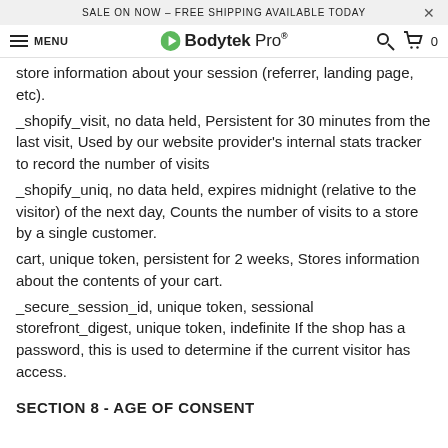SALE ON NOW - FREE SHIPPING AVAILABLE TODAY
MENU   Bodytek Pro   [search] [cart] 0
store information about your session (referrer, landing page, etc).
_shopify_visit, no data held, Persistent for 30 minutes from the last visit, Used by our website provider's internal stats tracker to record the number of visits
_shopify_uniq, no data held, expires midnight (relative to the visitor) of the next day, Counts the number of visits to a store by a single customer.
cart, unique token, persistent for 2 weeks, Stores information about the contents of your cart.
_secure_session_id, unique token, sessional storefront_digest, unique token, indefinite If the shop has a password, this is used to determine if the current visitor has access.
SECTION 8 - AGE OF CONSENT